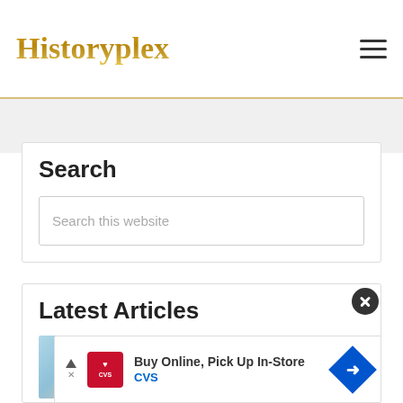Historyplex
Search
Search this website
Latest Articles
[Figure (photo): Thumbnail of a historical building with arched stonework facade, light blue sky background]
Drive Thru History: A Brief Guide to the Online Courses
[Figure (infographic): CVS Pharmacy advertisement: Buy Online, Pick Up In-Store. CVS logo with heart icon on red background. Blue diamond arrow icon on right.]